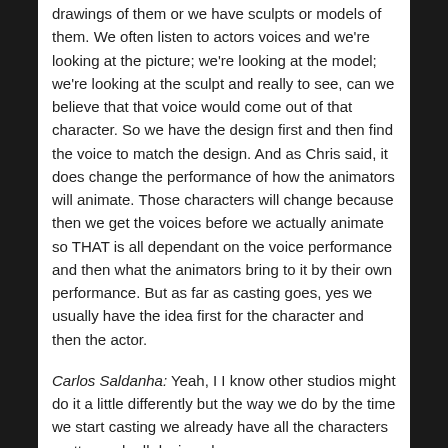drawings of them or we have sculpts or models of them. We often listen to actors voices and we're looking at the picture; we're looking at the model; we're looking at the sculpt and really to see, can we believe that that voice would come out of that character. So we have the design first and then find the voice to match the design. And as Chris said, it does change the performance of how the animators will animate. Those characters will change because then we get the voices before we actually animate so THAT is all dependant on the voice performance and then what the animators bring to it by their own performance. But as far as casting goes, yes we usually have the idea first for the character and then the actor.
Carlos Saldanha: Yeah, I I know other studios might do it a little differently but the way we do by the time we start casting we already have all the characters pretty much all designed.
Q: What were the concerns for the sequel?